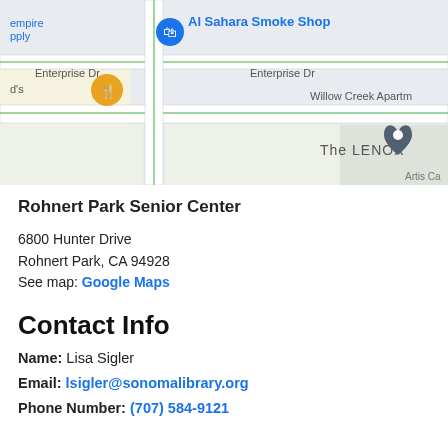[Figure (map): Google Maps screenshot showing Enterprise Dr area with Al Sahara Smoke Shop, The LENOX location pin, and surrounding streets including Willow Creek Apartments]
Rohnert Park Senior Center
6800 Hunter Drive
Rohnert Park, CA 94928
See map: Google Maps
Contact Info
Name: Lisa Sigler
Email: lsigler@sonomalibrary.org
Phone Number: (707) 584-9121